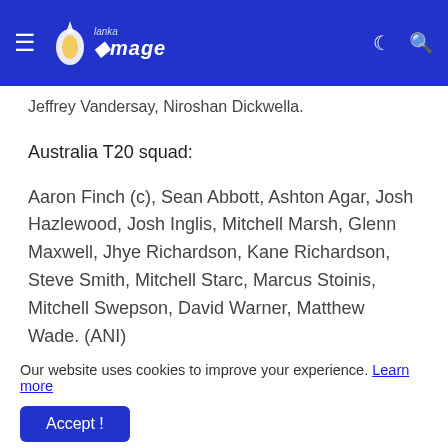Lanka Image
Jeffrey Vandersay, Niroshan Dickwella.
Australia T20 squad:
Aaron Finch (c), Sean Abbott, Ashton Agar, Josh Hazlewood, Josh Inglis, Mitchell Marsh, Glenn Maxwell, Jhye Richardson, Kane Richardson, Steve Smith, Mitchell Starc, Marcus Stoinis, Mitchell Swepson, David Warner, Matthew Wade. (ANI)
]]>
Our website uses cookies to improve your experience. Learn more
Accept !